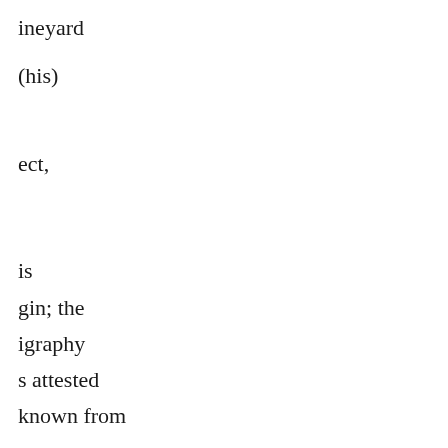ineyard
(his)
ect,
is
gin; the
igraphy
s attested
known from
dlaris,
aturninus,
d's father.
in the print
cription
re